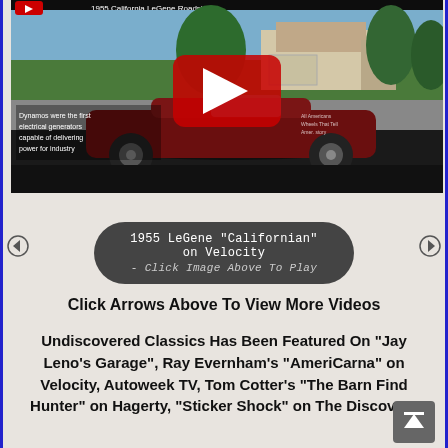[Figure (screenshot): YouTube video player showing a 1955 LeGene Californian roadster car with red play button overlay. The thumbnail shows a dark red classic convertible car parked on a suburban street with a house in the background. Text overlay reads 'Dynamos were the first electrical generators capable of delivering power for industry'.]
1955 LeGene "Californian" on Velocity - Click Image Above To Play
Click Arrows Above To View More Videos
Undiscovered Classics Has Been Featured On "Jay Leno's Garage", Ray Evernham's "AmeriCarna" on Velocity, Autoweek TV, Tom Cotter's "The Barn Find Hunter" on Hagerty, "Sticker Shock" on The Discovery Channel, and More...